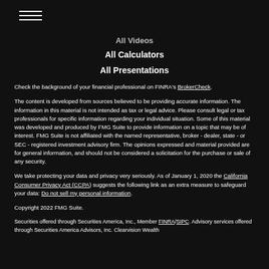All Videos
All Calculators
All Presentations
Check the background of your financial professional on FINRA's BrokerCheck.
The content is developed from sources believed to be providing accurate information. The information in this material is not intended as tax or legal advice. Please consult legal or tax professionals for specific information regarding your individual situation. Some of this material was developed and produced by FMG Suite to provide information on a topic that may be of interest. FMG Suite is not affiliated with the named representative, broker - dealer, state - or SEC - registered investment advisory firm. The opinions expressed and material provided are for general information, and should not be considered a solicitation for the purchase or sale of any security.
We take protecting your data and privacy very seriously. As of January 1, 2020 the California Consumer Privacy Act (CCPA) suggests the following link as an extra measure to safeguard your data: Do not sell my personal information.
Copyright 2022 FMG Suite.
Securities offered through Securities America, Inc., Member FINRA/SIPC. Advisory services offered through Securities America Advisors, Inc. Clearvision Wealth